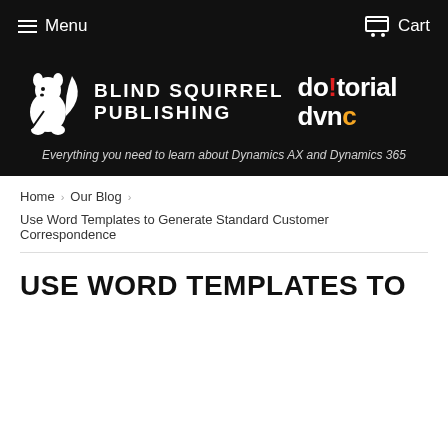Menu   Cart
[Figure (logo): Blind Squirrel Publishing and Dotorial Dvnc logos on black background with squirrel mascot]
Everything you need to learn about Dynamics AX and Dynamics 365
Home › Our Blog ›
Use Word Templates to Generate Standard Customer Correspondence
USE WORD TEMPLATES TO